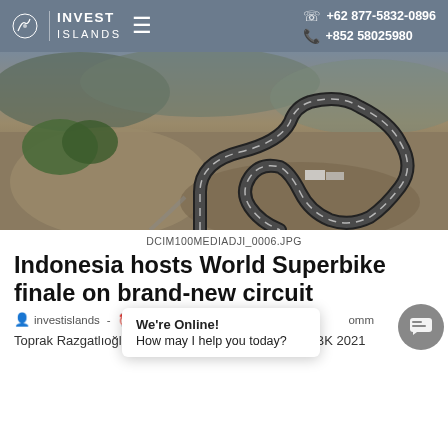INVEST ISLANDS | ☎ +62 877-5832-0896 | +852 58025980
[Figure (photo): Aerial drone photograph of the Mandalika street circuit in Indonesia, showing the winding race track layout with sandy terrain and hills in the background.]
DCIM100MEDIADJI_0006.JPG
Indonesia hosts World Superbike finale on brand-new circuit
investislands - Nov ... omm
We're Online! How may I help you today?
Toprak Razgatlıoğlu from Yamaha team won the WSBK 2021